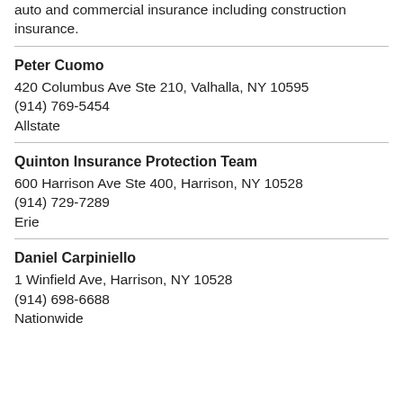auto and commercial insurance including construction insurance.
Peter Cuomo
420 Columbus Ave Ste 210, Valhalla, NY 10595
(914) 769-5454
Allstate
Quinton Insurance Protection Team
600 Harrison Ave Ste 400, Harrison, NY 10528
(914) 729-7289
Erie
Daniel Carpiniello
1 Winfield Ave, Harrison, NY 10528
(914) 698-6688
Nationwide